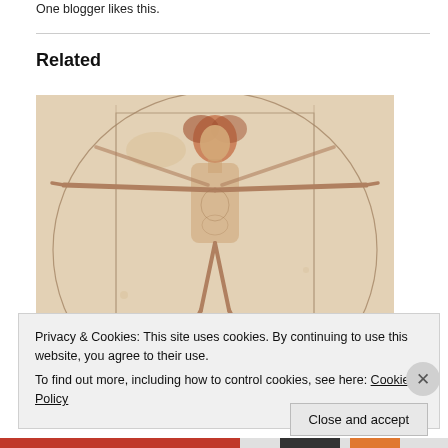One blogger likes this.
Related
[Figure (illustration): Leonardo da Vinci's Vitruvian Man — ink drawing of a male figure with arms and legs outstretched, inscribed in a circle and square, on aged parchment background.]
Privacy & Cookies: This site uses cookies. By continuing to use this website, you agree to their use.
To find out more, including how to control cookies, see here: Cookie Policy
Close and accept